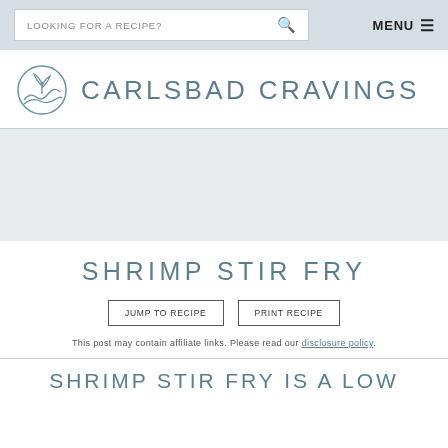LOOKING FOR A RECIPE?  MENU
[Figure (logo): Carlsbad Cravings logo with circular plant/leaf icon and text CARLSBAD CRAVINGS]
SHRIMP STIR FRY
JUMP TO RECIPE   PRINT RECIPE
This post may contain affiliate links. Please read our disclosure policy.
SHRIMP STIR FRY IS A LOW